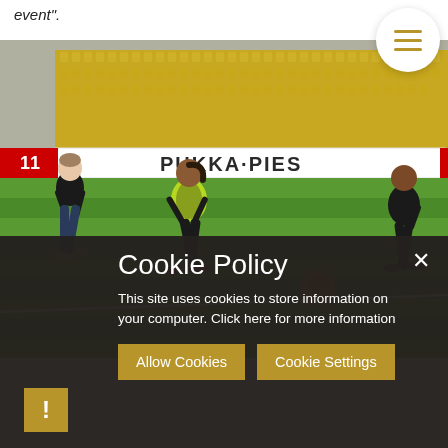event".
[Figure (photo): Children and young people playing football on a grass pitch inside a stadium. A girl in a yellow/green bib and pink boots is running toward an orange ball. A PUKKA PIES advertising board is visible in the background. Yellow stadium seats are in the stands.]
Cookie Policy
This site uses cookies to store information on your computer. Click here for more information
Allow Cookies
Cookie Settings